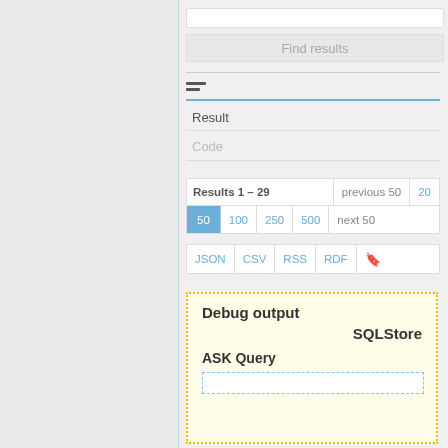[Figure (screenshot): UI screenshot of a query results interface with Find results button, Result/Code fields, pagination controls (Results 1-29, previous 50, 20, 50 active, 100, 250, 500, next 50), export format buttons (JSON, CSV, RSS, RDF, bookmark icon), and a Debug output panel showing SQLStore and ASK Query sections.]